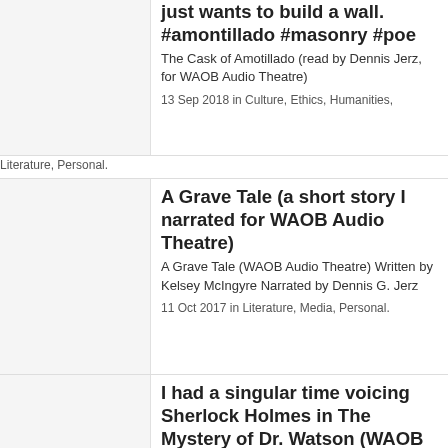just wants to build a wall. #amontillado #masonry #poe
The Cask of Amotillado (read by Dennis Jerz, for WAOB Audio Theatre)
13 Sep 2018 in Culture, Ethics, Humanities, Literature, Personal.
A Grave Tale (a short story I narrated for WAOB Audio Theatre)
A Grave Tale (WAOB Audio Theatre) Written by Kelsey McIngyre Narrated by Dennis G. Jerz
11 Oct 2017 in Literature, Media, Personal.
I had a singular time voicing Sherlock Holmes in The Mystery of Dr. Watson (WAOB Audio Theatre)
31 May 2017 in Culture, Drama, Literature,